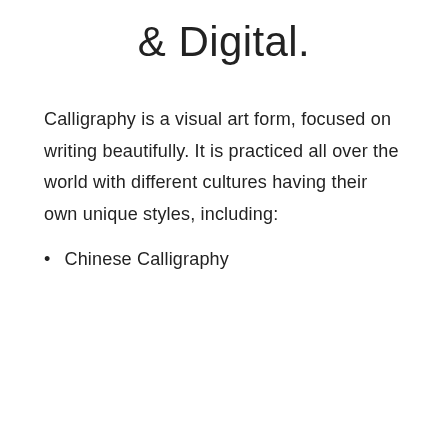& Digital.
Calligraphy is a visual art form, focused on writing beautifully. It is practiced all over the world with different cultures having their own unique styles, including:
Chinese Calligraphy